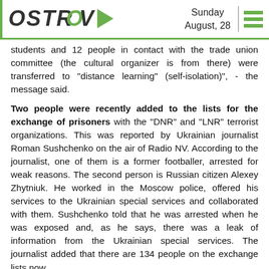OSTROV — Sunday August, 28
students and 12 people in contact with the trade union committee (the cultural organizer is from there) were transferred to "distance learning" (self-isolation)", - the message said.
Two people were recently added to the lists for the exchange of prisoners with the "DNR" and "LNR" terrorist organizations. This was reported by Ukrainian journalist Roman Sushchenko on the air of Radio NV. According to the journalist, one of them is a former footballer, arrested for weak reasons. The second person is Russian citizen Alexey Zhytniuk. He worked in the Moscow police, offered his services to the Ukrainian special services and collaborated with them. Sushchenko told that he was arrested when he was exposed and, as he says, there was a leak of information from the Ukrainian special services. The journalist added that there are 134 people on the exchange lists now.
Occupation authorities of the "DNR" have already recognized 179 deaths of COVID-19. This was said in